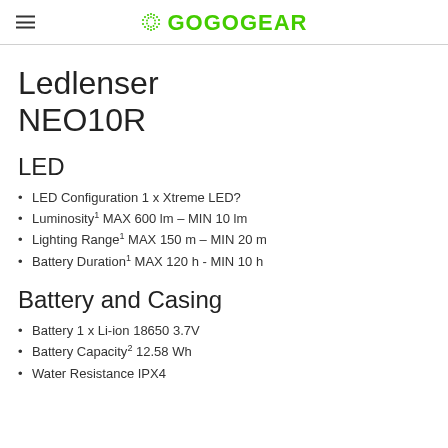GOGOGEAR
Ledlenser NEO10R
LED
LED Configuration 1 x Xtreme LED?
Luminosity¹ MAX 600 lm – MIN 10 lm
Lighting Range¹ MAX 150 m – MIN 20 m
Battery Duration¹ MAX 120 h - MIN 10 h
Battery and Casing
Battery 1 x Li-ion 18650 3.7V
Battery Capacity² 12.58 Wh
Water Resistance IPX4